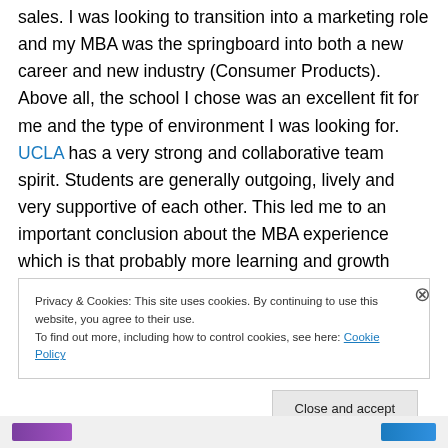sales.  I was looking to transition into a marketing role and my MBA was the springboard into both a new career and new industry (Consumer Products).  Above all, the school I chose was an excellent fit for me and the type of environment I was looking for.  UCLA has a very strong and collaborative team spirit.  Students are generally outgoing, lively and very supportive of each other.  This led me to an important conclusion about the MBA experience which is that probably more learning and growth comes from the interactions outside the classrooms than inside.  Few courses, professors or
Privacy & Cookies: This site uses cookies. By continuing to use this website, you agree to their use.
To find out more, including how to control cookies, see here: Cookie Policy
Close and accept